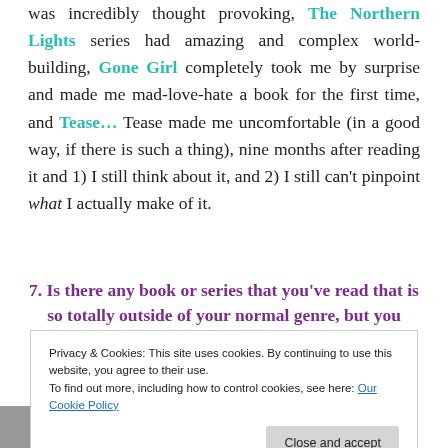was incredibly thought provoking, The Northern Lights series had amazing and complex world-building, Gone Girl completely took me by surprise and made me mad-love-hate a book for the first time, and Tease… Tease made me uncomfortable (in a good way, if there is such a thing), nine months after reading it and 1) I still think about it, and 2) I still can't pinpoint what I actually make of it.
7. Is there any book or series that you've read that is so totally outside of your normal genre, but you loved it and would recommend it to others as a "take a risk!" type of book?
Privacy & Cookies: This site uses cookies. By continuing to use this website, you agree to their use.
To find out more, including how to control cookies, see here: Our Cookie Policy
"high fantasy" had me running